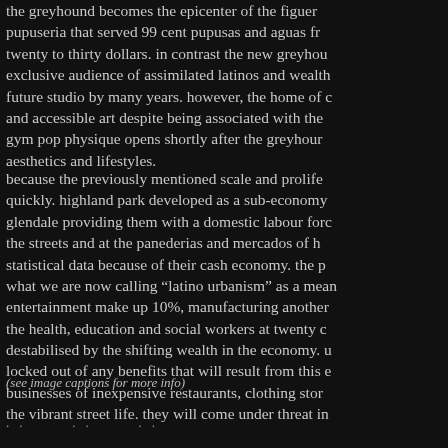the greyhound becomes the epicenter of the figuer pupuseria that served 99 cent pupusas and aguas fr twenty to thirty dollars. in contrast the new greyhou exclusive audience of assimilated latinos and wealth future studio by many years. however, the home of c and accessible art despite being associated with the gym pop physique opens shortly after the greyhour aesthetics and lifestyles.
because the previously mentioned scale and prolife quickly. highland park developed as a sub-economy glendale providing them with a domestic labour forc the streets and at the panederias and mercados of h statistical data because of their cash economy. the p what we are now calling "latino urbanism" as a mean entertainment make up 10%, manufacturing another the health, education and social workers at twenty c destabilised by the shifting wealth in the economy. u locked out of any benefits that will result from this e businesses of inexpensive restaurants, clothing stor the vibrant street life. they will come under threat in
(see image captions for more info)
..   ..   ..